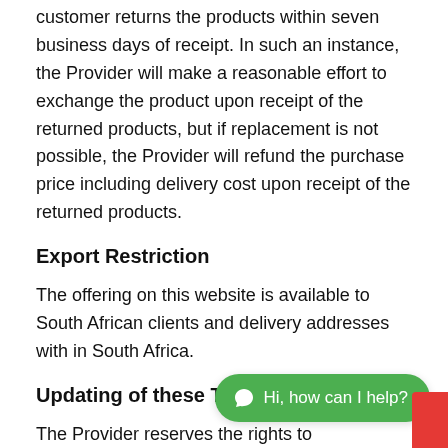customer returns the products within seven business days of receipt. In such an instance, the Provider will make a reasonable effort to exchange the product upon receipt of the returned products, but if replacement is not possible, the Provider will refund the purchase price including delivery cost upon receipt of the returned products.
Export Restriction
The offering on this website is available to South African clients and delivery addresses with in South Africa.
Updating of these Terms & Conditions
The Provider reserves the rights to